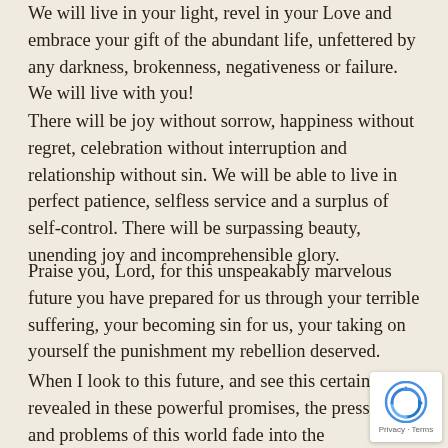We will live in your light, revel in your Love and embrace your gift of the abundant life, unfettered by any darkness, brokenness, negativeness or failure. We will live with you!
There will be joy without sorrow, happiness without regret, celebration without interruption and relationship without sin. We will be able to live in perfect patience, selfless service and a surplus of self-control. There will be surpassing beauty, unending joy and incomprehensible glory.
Praise you, Lord, for this unspeakably marvelous future you have prepared for us through your terrible suffering, your becoming sin for us, your taking on yourself the punishment my rebellion deserved.
When I look to this future, and see this certain hope revealed in these powerful promises, the pressures and problems of this world fade into the background. I still have to deal with them, but their importance shrinks, their significance lessens,